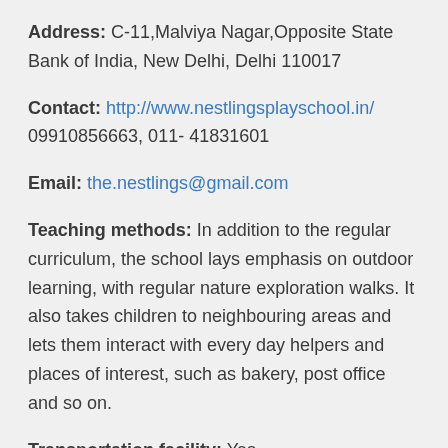Address: C-11,Malviya Nagar,Opposite State Bank of India, New Delhi, Delhi 110017
Contact: http://www.nestlingsplayschool.in/ 09910856663, 011- 41831601
Email: the.nestlings@gmail.com
Teaching methods: In addition to the regular curriculum, the school lays emphasis on outdoor learning, with regular nature exploration walks. It also takes children to neighbouring areas and lets them interact with every day helpers and places of interest, such as bakery, post office and so on.
Transportation facility: Yes